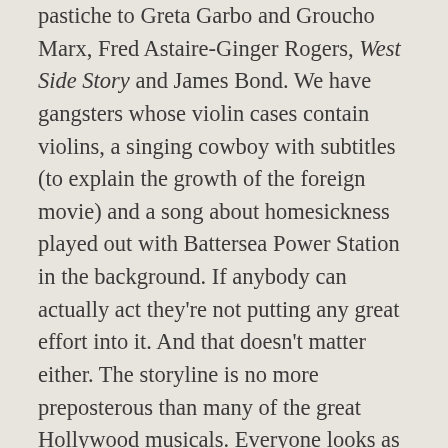pastiche to Greta Garbo and Groucho Marx, Fred Astaire-Ginger Rogers, West Side Story and James Bond. We have gangsters whose violin cases contain violins, a singing cowboy with subtitles (to explain the growth of the foreign movie) and a song about homesickness played out with Battersea Power Station in the background. If anybody can actually act they're not putting any great effort into it. And that doesn't matter either. The storyline is no more preposterous than many of the great Hollywood musicals. Everyone looks as if they're having a whale of a time and I guess that would include the audience because the movie was the fifth-best performer of the year in Britain. This was the type of movie, during the rise of the permissive cinema, that you could take your grandmother to see and still come away surprised you had enjoyed it so much yourself.